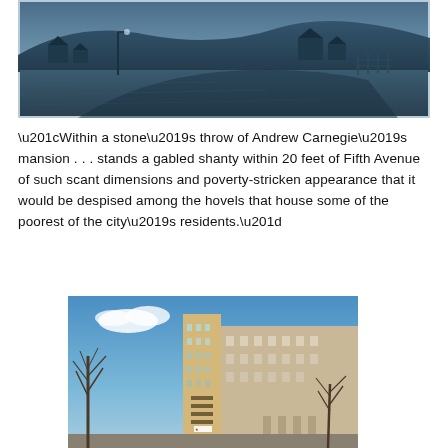[Figure (photo): Historical blue-tinted photograph of a rural or semi-rural landscape with small wooden structures, hills in the background, and a street lamp visible.]
“Within a stone’s throw of Andrew Carnegie’s mansion . . . stands a gabled shanty within 20 feet of Fifth Avenue of such scant dimensions and poverty-stricken appearance that it would be despised among the hovels that house some of the poorest of the city’s residents.”
[Figure (photo): Modern color photograph of urban high-rise apartment or hotel buildings on a city street with bare winter trees and blue sky visible.]